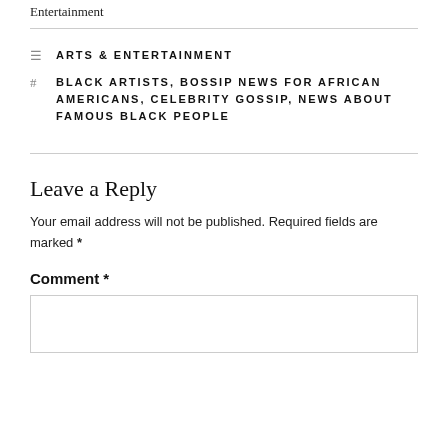Entertainment
ARTS & ENTERTAINMENT
BLACK ARTISTS, BOSSIP NEWS FOR AFRICAN AMERICANS, CELEBRITY GOSSIP, NEWS ABOUT FAMOUS BLACK PEOPLE
Leave a Reply
Your email address will not be published. Required fields are marked *
Comment *